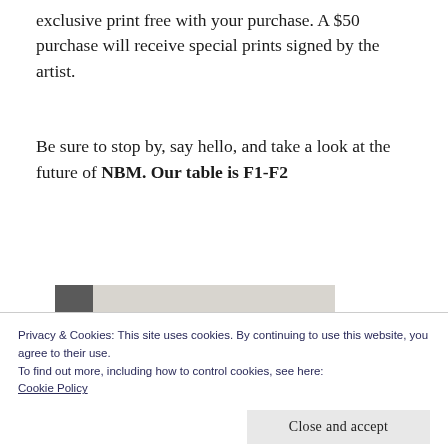exclusive print free with your purchase. A $50 purchase will receive special prints signed by the artist.
Be sure to stop by, say hello, and take a look at the future of NBM. Our table is F1-F2
[Figure (photo): Partial view of a book cover with dark square on left and light background with 'Anne Goetzinger' text, and below it a stylized title graphic in red and black.]
Privacy & Cookies: This site uses cookies. By continuing to use this website, you agree to their use.
To find out more, including how to control cookies, see here:
Cookie Policy
Close and accept